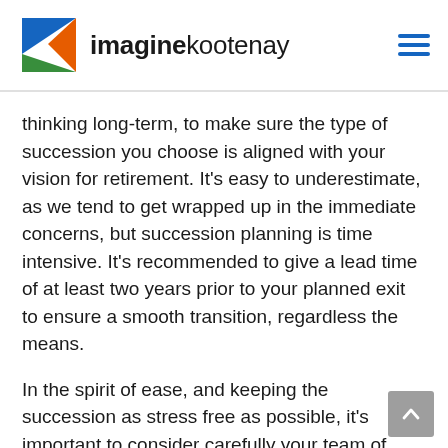imaginekootenay
thinking long-term, to make sure the type of succession you choose is aligned with your vision for retirement. It's easy to underestimate, as we tend to get wrapped up in the immediate concerns, but succession planning is time intensive. It's recommended to give a lead time of at least two years prior to your planned exit to ensure a smooth transition, regardless the means.
In the spirit of ease, and keeping the succession as stress free as possible, it's important to consider carefully your team of